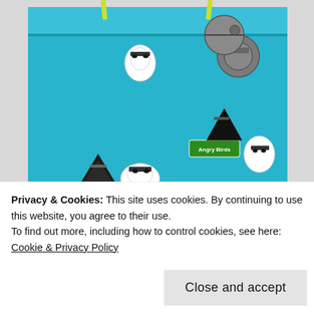[Figure (photo): A pair of children's pajama pants featuring an Angry Birds Star Wars themed print on teal/turquoise fabric, hung by yellow-green clips. The pants show various Angry Birds Star Wars characters including white birds, pig helmets, and dark character badges on the teal background. The image has a watermark reading 'The Finished Garment' with a dark icon in the bottom right corner.]
Privacy & Cookies: This site uses cookies. By continuing to use this website, you agree to their use.
To find out more, including how to control cookies, see here: Cookie & Privacy Policy
Close and accept